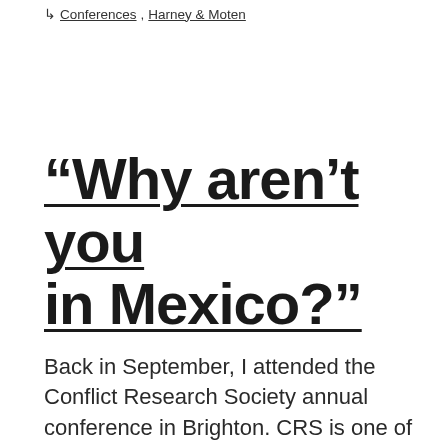Conferences, Harney & Moten
“Why aren’t you in Mexico?”
Back in September, I attended the Conflict Research Society annual conference in Brighton. CRS is one of my favorite conferences, and I have previously attended in Oxford and